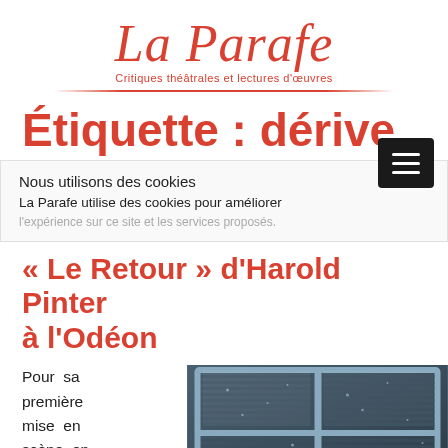La Parafe – Critiques théâtrales et lectures d'œuvres
Étiquette : dérive
Nous utilisons des cookies
La Parafe utilise des cookies pour améliorer l'expérience…
« Le Retour » d'Harold Pinter à l'Odéon
Pour sa première mise en scène en
[Figure (photo): Close-up photo of a window with raindrops or condensation on the glass, dark venetian blinds/shutters visible, dark tones, blue-grey cast]